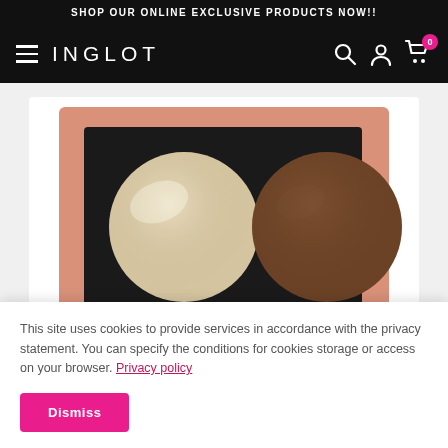SHOP OUR ONLINE EXCLUSIVE PRODUCTS NOW!!
[Figure (logo): INGLOT brand logo with hamburger menu, search, account, and cart icons on black navigation bar]
[Figure (photo): INGLOT makeup palette with two eyeshadow pans — one shimmery champagne/highlight shade and one deep brown matte shade — in a rose-gold/peach compact with black interior. BRONZE GLOW text visible at bottom.]
This site uses cookies to provide services in accordance with the privacy statement. You can specify the conditions for cookies storage or access on your browser. Privacy policy
Dismiss